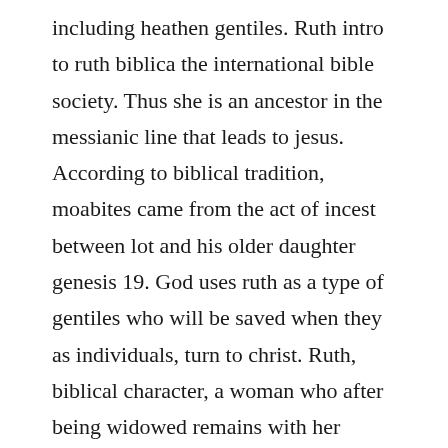including heathen gentiles. Ruth intro to ruth biblica the international bible society. Thus she is an ancestor in the messianic line that leads to jesus. According to biblical tradition, moabites came from the act of incest between lot and his older daughter genesis 19. God uses ruth as a type of gentiles who will be saved when they as individuals, turn to christ. Ruth, biblical character, a woman who after being widowed remains with her husbands mother. But ruth replied, dont ask me to leave you and turn back.